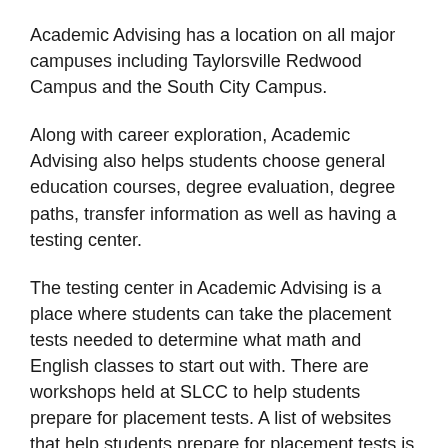Academic Advising has a location on all major campuses including Taylorsville Redwood Campus and the South City Campus.
Along with career exploration, Academic Advising also helps students choose general education courses, degree evaluation, degree paths, transfer information as well as having a testing center.
The testing center in Academic Advising is a place where students can take the placement tests needed to determine what math and English classes to start out with. There are workshops held at SLCC to help students prepare for placement tests. A list of websites that help students prepare for placement tests is also available at Academic Advising, in case a workshop cannot be attended.